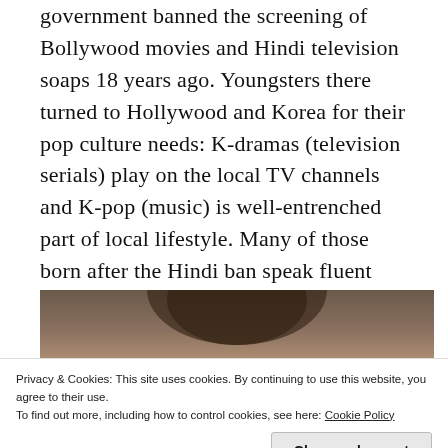government banned the screening of Bollywood movies and Hindi television soaps 18 years ago. Youngsters there turned to Hollywood and Korea for their pop culture needs: K-dramas (television serials) play on the local TV channels and K-pop (music) is well-entrenched part of local lifestyle. Many of those born after the Hindi ban speak fluent Korean now. “We even share the same facial features, so there’s a good connect with Korean beauty brands,” says Ham in half-jest.
[Figure (photo): Partial photo showing top of a person's head with dark hair, cropped at top edge]
Privacy & Cookies: This site uses cookies. By continuing to use this website, you agree to their use.
To find out more, including how to control cookies, see here: Cookie Policy
Close and accept
[Figure (photo): Partial photo at bottom showing a person's lower face/lips area]